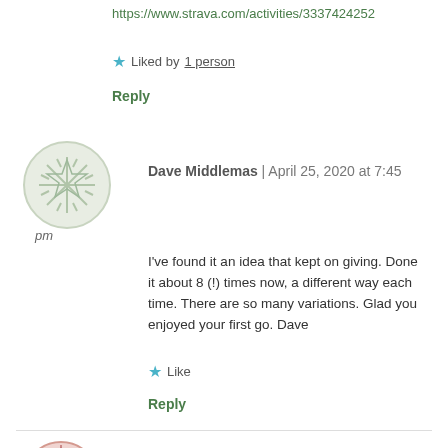https://www.strava.com/activities/3337424252
★ Liked by 1 person
Reply
[Figure (illustration): Circular avatar image with a light green/sage background and a decorative star/snowflake pattern, for user Dave Middlemas]
Dave Middlemas | April 25, 2020 at 7:45 pm
I've found it an idea that kept on giving. Done it about 8 (!) times now, a different way each time. There are so many variations. Glad you enjoyed your first go. Dave
★ Like
Reply
[Figure (illustration): Circular avatar image with a red/pink decorative pattern, for user icelandicjjon]
icelandicjjon | April 26, 2020 at 6:33 pm